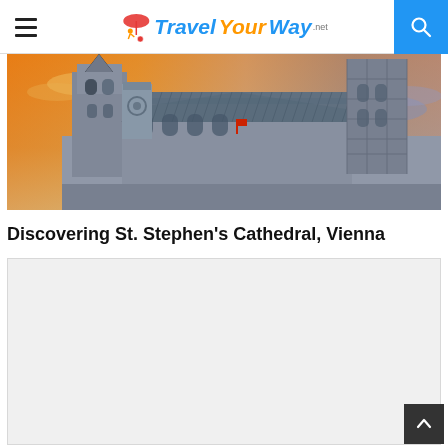Travel Your Way .net — navigation header with hamburger menu and search button
[Figure (photo): St. Stephen's Cathedral in Vienna photographed at sunset/dusk, showing the Gothic architecture with ornate spires and patterned roof tiles against an orange and blue sky]
Discovering St. Stephen's Cathedral, Vienna
[Figure (other): Gray placeholder content box (advertisement or image loading area)]